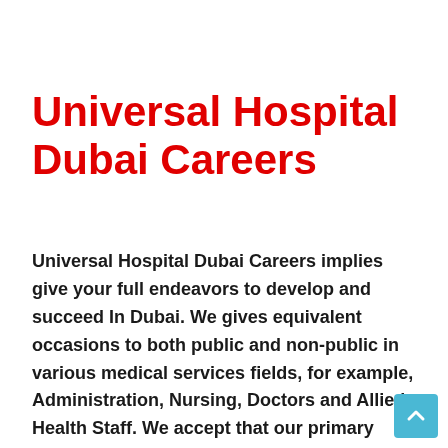Universal Hospital Dubai Careers
Universal Hospital Dubai Careers implies give your full endeavors to develop and succeed In Dubai. We gives equivalent occasions to both public and non-public in various medical services fields, for example, Administration, Nursing, Doctors and Allied Health Staff. We accept that our primary quality, our profoundly gifted and assorted labor force group who are buckling down days and evenings to give their most ideal presentation every day. So get ready to grab that amazing chance of finding jobs in Universal Hospital Careers in UAE and be